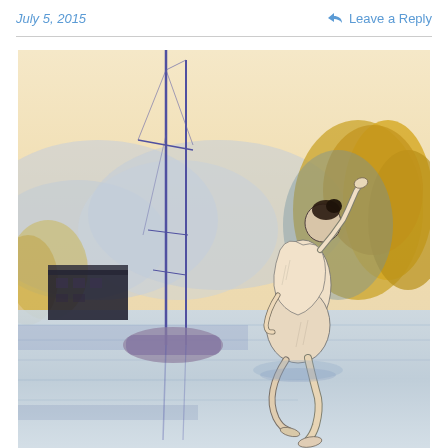July 5, 2015    Leave a Reply
[Figure (illustration): Watercolor and pencil illustration of a nude female figure kneeling or rising near a small sailboat on calm water, with mountains and golden autumn trees in the background. The figure is rendered in detailed pencil work against a loose watercolor landscape.]